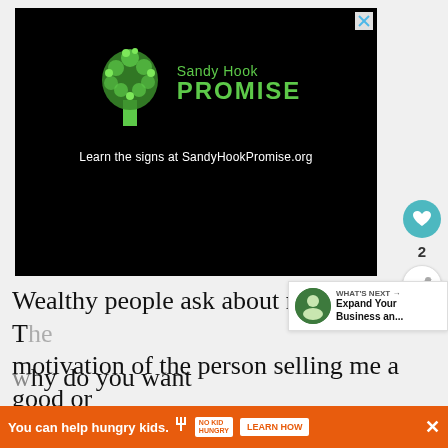[Figure (illustration): Sandy Hook Promise advertisement on black background with green tree logo made of handprints, text 'Sandy Hook PROMISE' and 'Learn the signs at SandyHookPromise.org']
Wealthy people ask about motivation. The motivation of the person selling me a good or service? Why do you want to convince me to do this?
[Figure (infographic): What's Next promotional box with circular icon showing person silhouette, text 'WHAT'S NEXT → Expand Your Business an...']
[Figure (infographic): Bottom orange banner ad: 'You can help hungry kids.' with No Kid Hungry logo and 'LEARN HOW' button]